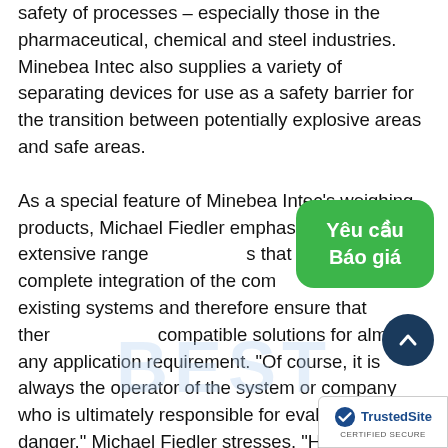safety of processes – especially those in the pharmaceutical, chemical and steel industries. Minebea Intec also supplies a variety of separating devices for use as a safety barrier for the transition between potentially explosive areas and safe areas.

As a special feature of Minebea Intec's weighing products, Michael Fiedler emphasises the extensive range of interfaces that enable the complete integration of the components into existing systems and therefore ensure that there are compatible solutions for almost any application requirement. "Of course, it is always the operator of the system or company who is ultimately responsible for evaluating the danger," Michael Fiedler stresses. "However, we actively support our customers with our expertise and our broad product portfolio in order to provide a safe solution for the respective task and therefore to eliminate, as far as possible, the risk to human life and property."
[Figure (other): Green rounded rectangle button with Vietnamese text 'Yêu cầu Báo giá' (Request a Quote)]
[Figure (other): Dark blue circular scroll-to-top button with upward chevron arrow]
[Figure (logo): TrustedSite CERTIFIED SECURE badge with blue checkmark shield logo]